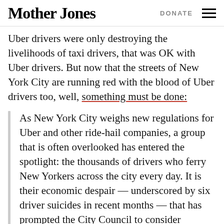Mother Jones | DONATE
Uber drivers were only destroying the livelihoods of taxi drivers, that was OK with Uber drivers. But now that the streets of New York City are running red with the blood of Uber drivers too, well, something must be done:
As New York City weighs new regulations for Uber and other ride-hail companies, a group that is often overlooked has entered the spotlight: the thousands of drivers who ferry New Yorkers across the city every day. It is their economic despair — underscored by six driver suicides in recent months — that has prompted the City Council to consider